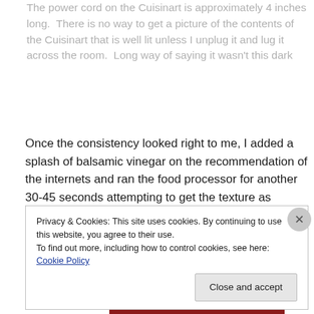The power cord on the Cuisinart is approximately 4 inches long. There is no way to get a picture of the contents of the Cuisinart that is well lit unless I unplug it and lug it across the room. Long way of saying it wasn't this dark
Once the consistency looked right to me, I added a splash of balsamic vinegar on the recommendation of the internets and ran the food processor for another 30-45 seconds attempting to get the texture as smooth and
Privacy & Cookies: This site uses cookies. By continuing to use this website, you agree to their use.
To find out more, including how to control cookies, see here: Cookie Policy